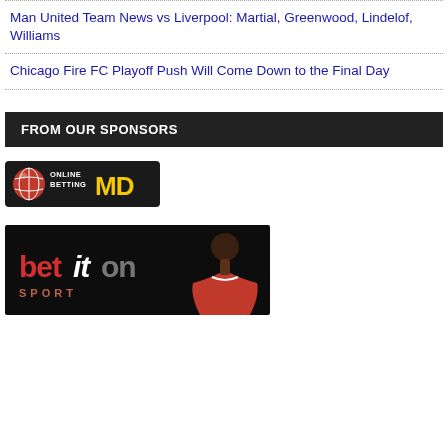Man United Team News vs Liverpool: Martial, Greenwood, Lindelof, Williams
Chicago Fire FC Playoff Push Will Come Down to the Final Day
FROM OUR SPONSORS
[Figure (logo): Online Betting MD logo with football graphic, yellow and white text on dark background]
[Figure (photo): Betiton Sport advertisement banner showing logo text and a man in a red jersey on black background]